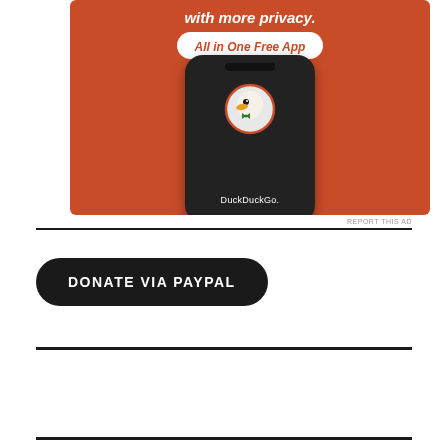[Figure (screenshot): DuckDuckGo advertisement showing a smartphone with the DuckDuckGo duck logo on an orange background. Text reads 'Search, browse, and email with more privacy. All in One Free App']
REPORT THIS AD
DONATE VIA PAYPAL